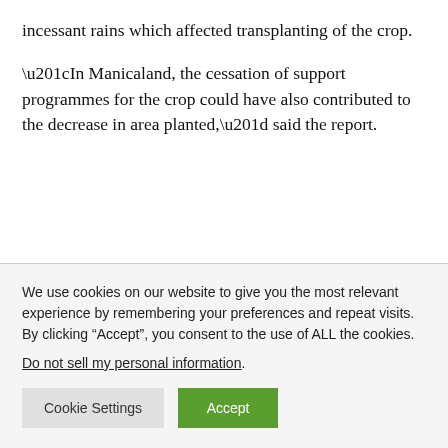incessant rains which affected transplanting of the crop.
“In Manicaland, the cessation of support programmes for the crop could have also contributed to the decrease in area planted,” said the report.
We use cookies on our website to give you the most relevant experience by remembering your preferences and repeat visits. By clicking “Accept”, you consent to the use of ALL the cookies.
Do not sell my personal information.